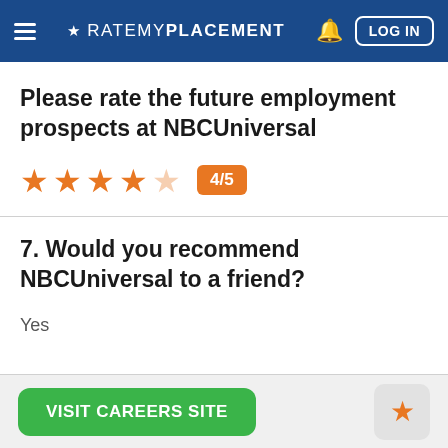≡ ★ RATEMYPLACEMENT 🔔 LOG IN
Please rate the future employment prospects at NBCUniversal
[Figure (other): Star rating: 4 out of 5 stars (4 filled orange stars, 1 empty), with badge showing 4/5]
7. Would you recommend NBCUniversal to a friend?
Yes
VISIT CAREERS SITE  [star/favorite button]